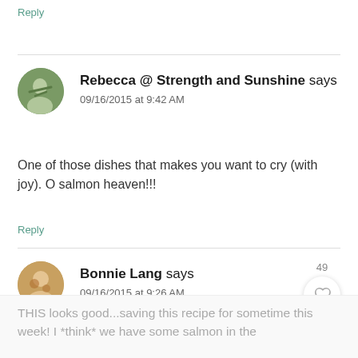Reply
Rebecca @ Strength and Sunshine says
09/16/2015 at 9:42 AM
One of those dishes that makes you want to cry (with joy). O salmon heaven!!!
Reply
Bonnie Lang says
09/16/2015 at 9:26 AM
THIS looks good...saving this recipe for sometime this week! I *think* we have some salmon in the